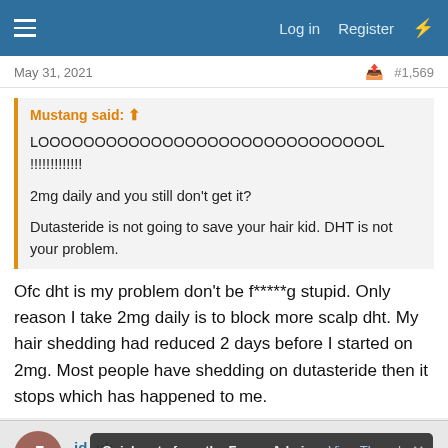Log in  Register
May 31, 2021  #1,569
Mustang said:
LOOOOOOOOOOOOOOOOOOOOOOOOOOOOOL !!!!!!!!!!!!!
2mg daily and you still don't get it?
Dutasteride is not going to save your hair kid. DHT is not your problem.
Ofc dht is my problem don't be f*****g stupid. Only reason I take 2mg daily is to block more scalp dht. My hair shedding had reduced 2 days before I started on 2mg. Most people have shedding on dutasteride then it stops which has happened to me.
jd_uk
Senior Member
Quick note from the Forum Admin: View Thread.